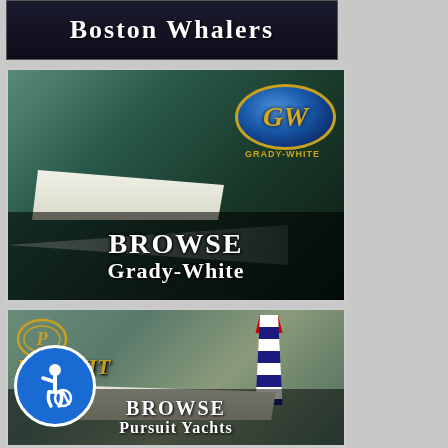[Figure (illustration): Boston Whalers dark banner with white bold text reading 'Boston Whalers']
[Figure (photo): Grady-White boats advertisement with a speedboat on dark water, GW oval logo in top right, and overlay text 'BROWSE Grady-White']
[Figure (photo): Pursuit boats advertisement with a center console boat near a lighthouse, Pursuit logo in top left, and overlay text 'BROWSE Pursuit Yachts'. An accessibility icon (blue circle with wheelchair symbol) is overlaid on the bottom left corner.]